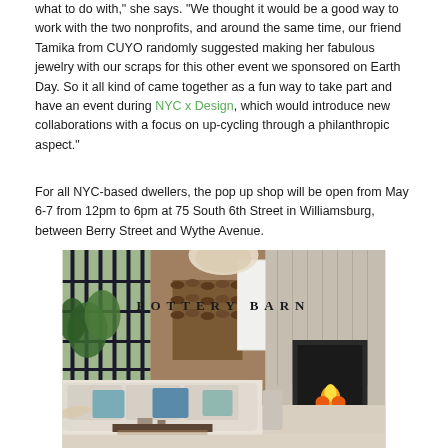what to do with," she says. "We thought it would be a good way to work with the two nonprofits, and around the same time, our friend Tamika from CUYO randomly suggested making her fabulous jewelry with our scraps for this other event we sponsored on Earth Day. So it all kind of came together as a fun way to take part and have an event during NYC x Design, which would introduce new collaborations with a focus on up-cycling through a philanthropic aspect."
For all NYC-based dwellers, the pop up shop will be open from May 6-7 from 12pm to 6pm at 75 South 6th Street in Williamsburg, between Berry Street and Wythe Avenue.
[Figure (photo): Interior living room scene with Pottery Barn branding text overlaid. Shows a cozy room with large steel-frame windows, a sectional sofa with blue and white pillows, a fireplace, stacked firewood, and a pendant light.]